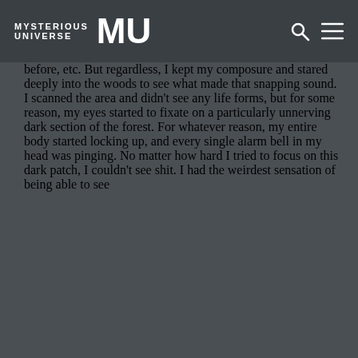MYSTERIOUS UNIVERSE MU [logo] [search icon] [menu icon]
This is where shit got surreal. As I looked back, the trail I was walking on lost all sense of familiarity. There were trees I didn't see, certain plants I know for sure weren't there before, etc. But regardless, I kept my composure and stared deeply into the woods to see what made that snapping sound. I scanned the area and didn't see any life forms, but for some reason, my eyes started to fixate on a particularly unnerving dark section of the forest. For whatever reason, my entire body started locking up, and every single alarm bell in my head was pinging. No matter how hard I tried to focus on this dark patch, I couldn't see shit. I had the weirdest sensation of being able to see